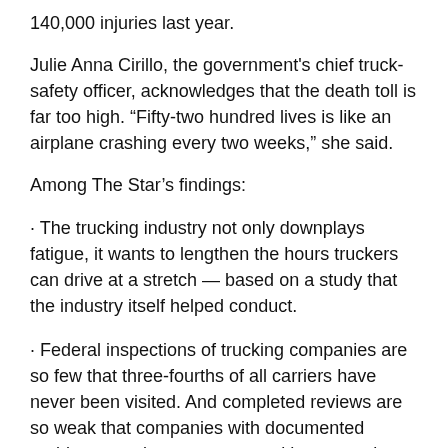140,000 injuries last year.
Julie Anna Cirillo, the government's chief truck-safety officer, acknowledges that the death toll is far too high. “Fifty-two hundred lives is like an airplane crashing every two weeks,” she said.
Among The Star’s findings:
· The trucking industry not only downplays fatigue, it wants to lengthen the hours truckers can drive at a stretch — based on a study that the industry itself helped conduct.
· Federal inspections of trucking companies are so few that three-fourths of all carriers have never been visited. And completed reviews are so weak that companies with documented problems continue to operate without sanctions.